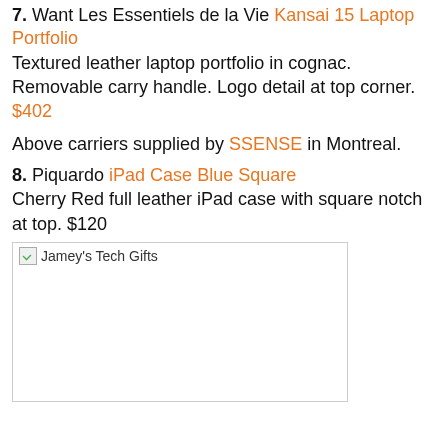7. Want Les Essentiels de la Vie Kansai 15 Laptop Portfolio
Textured leather laptop portfolio in cognac. Removable carry handle. Logo detail at top corner. $402
Above carriers supplied by SSENSE in Montreal.
8. Piquardo iPad Case Blue Square
Cherry Red full leather iPad case with square notch at top. $120
[Figure (photo): Jamey's Tech Gifts — broken/unloaded image placeholder]